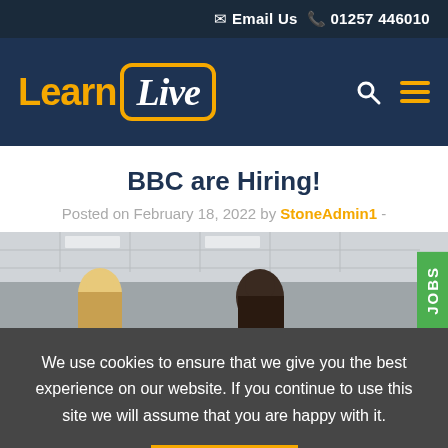Email Us  01257 446010
[Figure (logo): LearnLive logo with yellow 'Learn' text and white italic 'Live' text inside a yellow rounded rectangle border, on dark navy background. Search and hamburger menu icons on the right.]
BBC are Hiring!
Posted on February 18, 2022 by StoneAdmin1 -
[Figure (photo): Office or meeting room scene showing people from behind, with a tiled ceiling visible. A green 'JOBS' vertical sidebar tab is visible on the right edge.]
We use cookies to ensure that we give you the best experience on our website. If you continue to use this site we will assume that you are happy with it.
OK